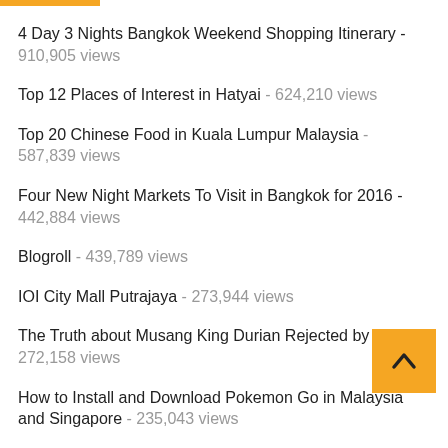4 Day 3 Nights Bangkok Weekend Shopping Itinerary - 910,905 views
Top 12 Places of Interest in Hatyai - 624,210 views
Top 20 Chinese Food in Kuala Lumpur Malaysia - 587,839 views
Four New Night Markets To Visit in Bangkok for 2016 - 442,884 views
Blogroll - 439,789 views
IOI City Mall Putrajaya - 273,944 views
The Truth about Musang King Durian Rejected by China - 272,158 views
How to Install and Download Pokemon Go in Malaysia and Singapore - 235,043 views
New Requirements for Malaysians Travelling to France - 231,135 views
2000 Chinese Tourists Cancelled Trip to Malaysia and Visit…